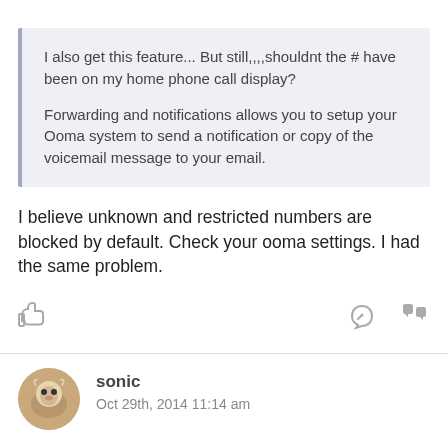I also get this feature... But still,,,,shouldnt the # have been on my home phone call display?

Forwarding and notifications allows you to setup your Ooma system to send a notification or copy of the voicemail message to your email.
I believe unknown and restricted numbers are blocked by default. Check your ooma settings. I had the same problem.
[Figure (illustration): Action bar with thumbs-up icon on the left, reply and quote icons on the right]
[Figure (photo): User avatar - small animal photo in circular frame]
sonic
Oct 29th, 2014 11:14 am